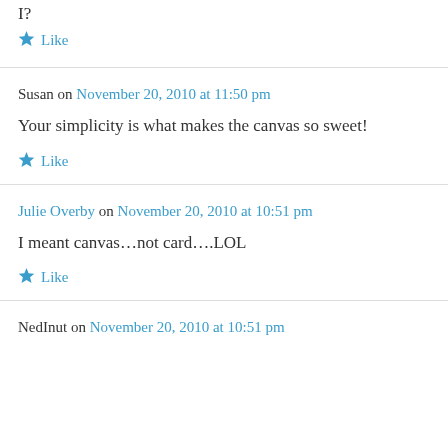I?
★ Like
Susan on November 20, 2010 at 11:50 pm
Your simplicity is what makes the canvas so sweet!
★ Like
Julie Overby on November 20, 2010 at 10:51 pm
I meant canvas…not card….LOL
★ Like
NedInut on November 20, 2010 at 10:51 pm